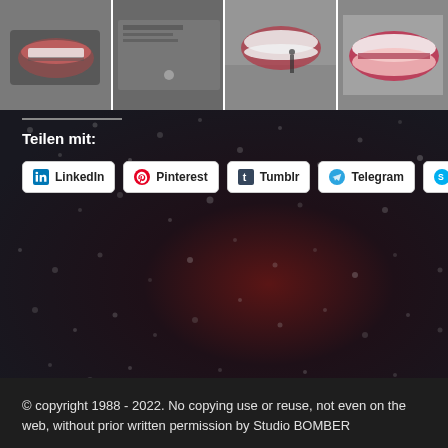[Figure (photo): Strip of four thumbnail images showing large outdoor billboard/mural artwork featuring close-up lips and mouth graffiti, with street scenes and a person walking a dog visible]
[Figure (photo): Dark textured background photo showing close-up of wet dark surface with water droplets and dark red/maroon tones, likely a wine glass or dark liquid surface]
Teilen mit:
LinkedIn  Pinterest  Tumblr  Telegram  Skype
© copyright 1988 - 2022. No copying use or reuse, not even on the web, without prior written permission by Studio BOMBER